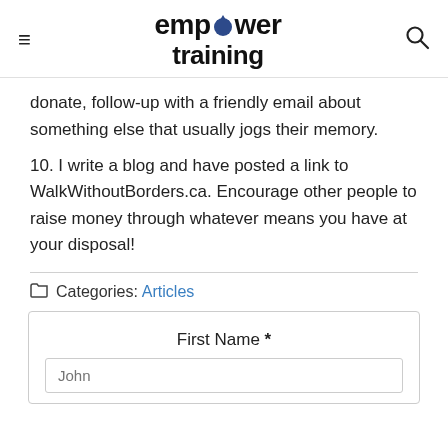empower training
donate, follow-up with a friendly email about something else that usually jogs their memory.
10. I write a blog and have posted a link to WalkWithoutBorders.ca. Encourage other people to raise money through whatever means you have at your disposal!
Categories: Articles
First Name *
John